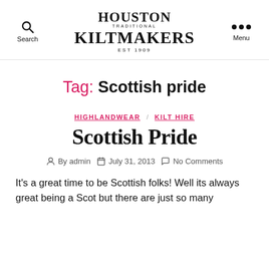Houston Traditional Kiltmakers Est 1909 — Search / Menu
Tag: Scottish pride
HIGHLANDWEAR  KILT HIRE
Scottish Pride
By admin  July 31, 2013  No Comments
It's a great time to be Scottish folks! Well its always great being a Scot but there are just so many